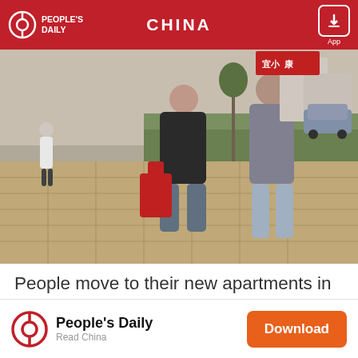PEOPLE'S DAILY — CHINA
[Figure (photo): People walking on a paved sidewalk carrying bags, moving to new apartments in an urban area. Buildings and grass visible in the background.]
People move to their new apartments in Ludian county, Yunnan province, on March 11. More than 100,000 in poverty will move from mountains to urban areas across Yunnan to start their new lives as China plans to eradicate extreme poverty by the end of this year. (Photo: Xinhua)